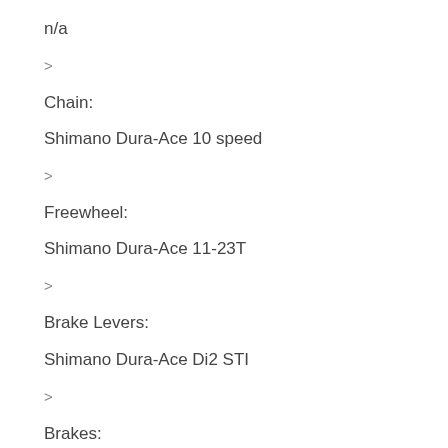n/a
>
Chain:
Shimano Dura-Ace 10 speed
>
Freewheel:
Shimano Dura-Ace 11-23T
>
Brake Levers:
Shimano Dura-Ace Di2 STI
>
Brakes:
Shimano Dura-Ace Super SLR dual pivot w/